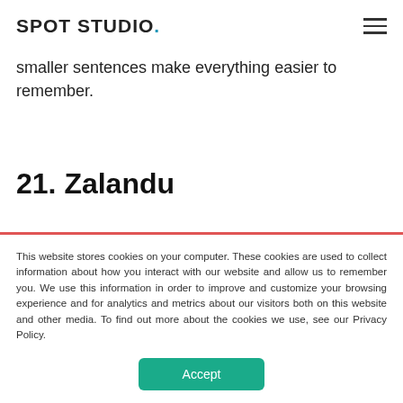SPOT STUDIO.
smaller sentences make everything easier to remember.
21. Zalandu
This website stores cookies on your computer. These cookies are used to collect information about how you interact with our website and allow us to remember you. We use this information in order to improve and customize your browsing experience and for analytics and metrics about our visitors both on this website and other media. To find out more about the cookies we use, see our Privacy Policy.
Accept